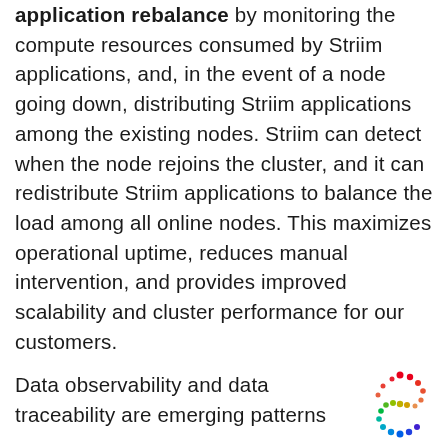application rebalance by monitoring the compute resources consumed by Striim applications, and, in the event of a node going down, distributing Striim applications among the existing nodes. Striim can detect when the node rejoins the cluster, and it can redistribute Striim applications to balance the load among all online nodes. This maximizes operational uptime, reduces manual intervention, and provides improved scalability and cluster performance for our customers.
Data observability and data traceability are emerging patterns
[Figure (logo): Striim logo — colorful dotted S-shaped swirl on white background]